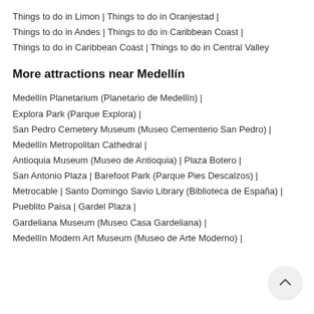Things to do in Limon | Things to do in Oranjestad |
Things to do in Andes | Things to do in Caribbean Coast |
Things to do in Caribbean Coast | Things to do in Central Valley
More attractions near Medellín
Medellín Planetarium (Planetario de Medellín) |
Explora Park (Parque Explora) |
San Pedro Cemetery Museum (Museo Cementerio San Pedro) |
Medellín Metropolitan Cathedral |
Antioquia Museum (Museo de Antioquia) | Plaza Botero |
San Antonio Plaza | Barefoot Park (Parque Pies Descalzos) |
Metrocable | Santo Domingo Savio Library (Biblioteca de España) |
Pueblito Paisa | Gardel Plaza |
Gardeliana Museum (Museo Casa Gardeliana) |
Medellín Modern Art Museum (Museo de Arte Moderno) |